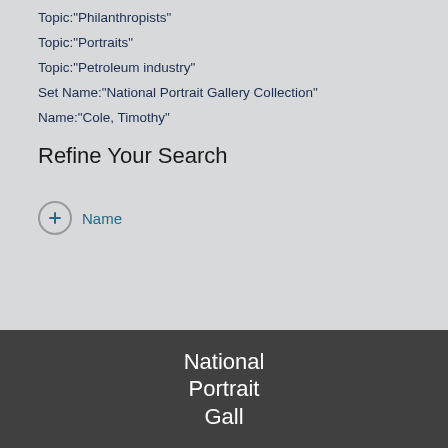Topic:"Philanthropists"
Topic:"Portraits"
Topic:"Petroleum industry"
Set Name:"National Portrait Gallery Collection"
Name:"Cole, Timothy"
Refine Your Search
+ Name
National Portrait